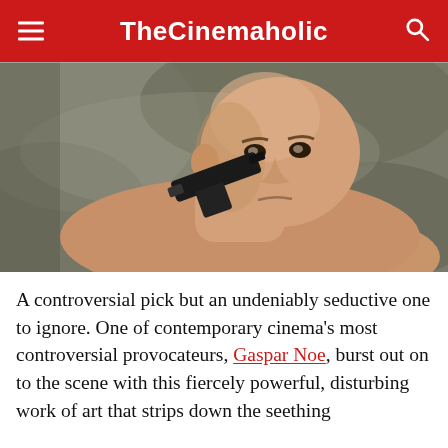TheCinemaholic
[Figure (photo): A middle-aged bald man lying down shirtless, holding a handgun to his neck/chest, looking intensely at the camera. Background appears to be a rough stone or concrete surface.]
A controversial pick but an undeniably seductive one to ignore. One of contemporary cinema's most controversial provocateurs, Gaspar Noe, burst out on to the scene with this fiercely powerful, disturbing work of art that strips down the seething